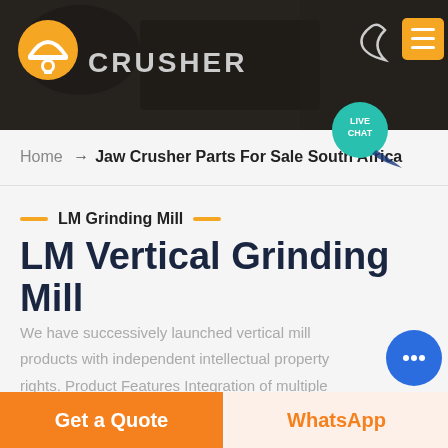[Figure (screenshot): Website header banner with dark overlay showing mining/crusher equipment background, orange logo icon, CRUSHER text, moon icon, and orange hamburger menu button]
[Figure (illustration): Live chat bubble in teal/cyan color with LIVE CHAT text and speech bubble tail]
Home → Jaw Crusher Parts For Sale South Africa
LM Grinding Mill
LM Vertical Grinding Mill
We have successively launched vertical mill products with independent intellectual property rights. Product Features Integration of multiple functions, more stable and reliable production and more excellent capacity
[Figure (illustration): Blue circular chat widget with ellipsis/dots icon]
Get a Quote
WhatsApp